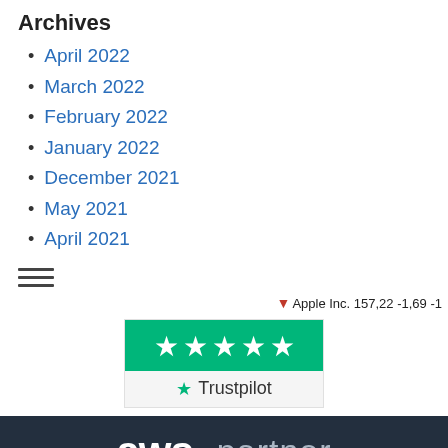Archives
April 2022
March 2022
February 2022
January 2022
December 2021
May 2021
April 2021
[Figure (infographic): Hamburger menu icon (three horizontal lines)]
Apple Inc. 157,22 -1,69 -1
[Figure (logo): Trustpilot logo with 5 green stars and Trustpilot text]
[Figure (logo): AWS partner banner with white 'aws' text and light 'partner' text on dark navy background]